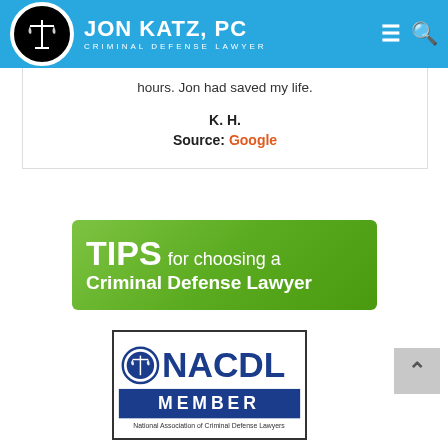JON KATZ, PC — CRIMINAL DEFENSE LAWYER
hours. Jon had saved my life.
K. H.
Source: Google
[Figure (illustration): Green banner reading TIPS for choosing a Criminal Defense Lawyer]
[Figure (logo): NACDL Member badge — National Association of Criminal Defense Lawyers]